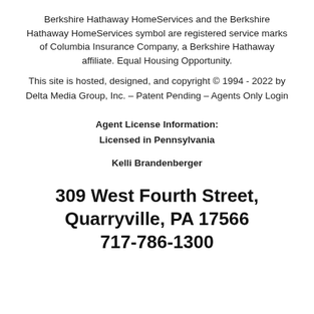Berkshire Hathaway HomeServices and the Berkshire Hathaway HomeServices symbol are registered service marks of Columbia Insurance Company, a Berkshire Hathaway affiliate. Equal Housing Opportunity.
This site is hosted, designed, and copyright © 1994 - 2022 by Delta Media Group, Inc. – Patent Pending – Agents Only Login
Agent License Information:
Licensed in Pennsylvania
Kelli Brandenberger
309 West Fourth Street, Quarryville, PA 17566
717-786-1300